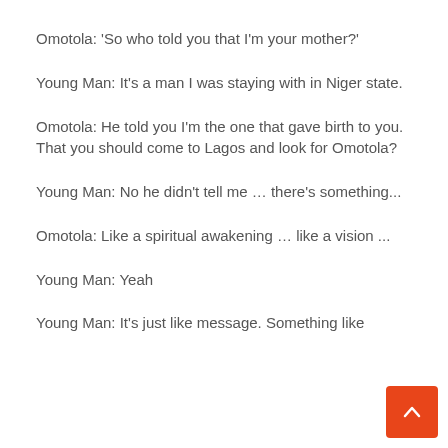Omotola: 'So who told you that I'm your mother?'
Young Man: It's a man I was staying with in Niger state.
Omotola: He told you I'm the one that gave birth to you. That you should come to Lagos and look for Omotola?
Young Man: No he didn't tell me … there's something...
Omotola: Like a spiritual awakening … like a vision ...
Young Man: Yeah
Young Man: It's just like message. Something like